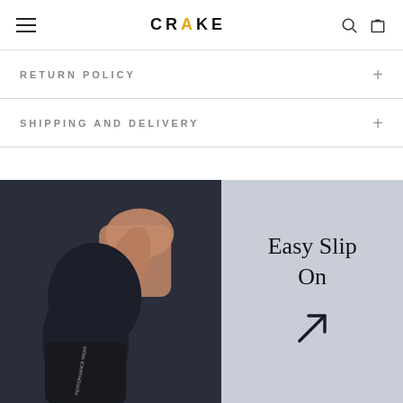CRAKE
RETURN POLICY
SHIPPING AND DELIVERY
[Figure (photo): Person wearing dark navy athletic leggings and top, bending forward in a stretch pose against a light lavender/grey background. Text overlay reads 'Easy Slip On' with a diagonal arrow icon.]